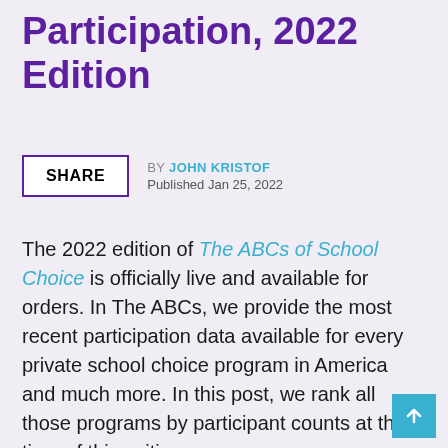Participation, 2022 Edition
BY JOHN KRISTOF
Published Jan 25, 2022
The 2022 edition of The ABCs of School Choice is officially live and available for orders. In The ABCs, we provide the most recent participation data available for every private school choice program in America and much more. In this post, we rank all those programs by participant counts at the time of this writing.